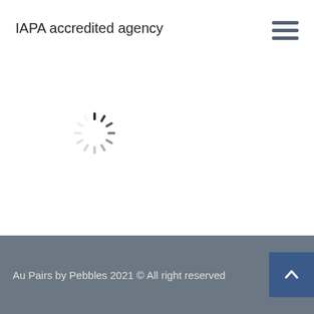IAPA accredited agency
[Figure (other): Loading spinner / activity indicator icon]
BAPAA accredited agency
Au Pairs by Pebbles 2021 © All right reserved